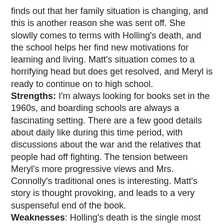finds out that her family situation is changing, and this is another reason she was sent off. She slowlly comes to terms with Holling's death, and the school helps her find new motivations for learning and living. Matt's situation comes to a horrifying head but does get resolved, and Meryl is ready to continue on to high school.
Strengths: I'm always looking for books set in the 1960s, and boarding schools are always a fascinating setting. There are a few good details about daily like during this time period, with discussions about the war and the relatives that people had off fighting. The tension between Meryl's more progressive views and Mrs. Connolly's traditional ones is interesting. Matt's story is thought provoking, and leads to a very suspenseful end of the book.
Weaknesses: Holling's death is the single most abrupt and upsetting one I have ever seen in fiction, although Ambrose's death in the television show Ballykissangel comes close; my daughter still hasn't gotten over that.  It's comes as a slap in the face, and rather unprocessed; no wonder Meryl Lee is beside herself. On the one hand, it's very effective writing, but it made me angry for the whole book. Again, effective, but I'm not sure how students will feel about it. Since